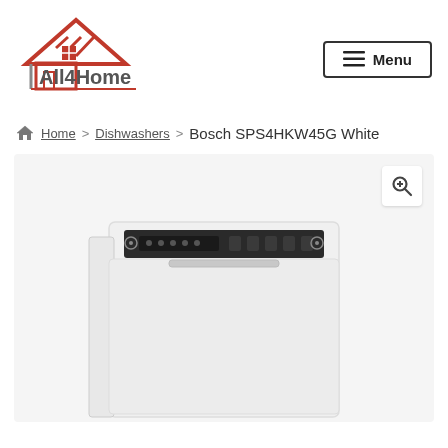[Figure (logo): All4Home logo with red house icon and text]
[Figure (other): Menu navigation button with hamburger icon]
Home > Dishwashers > Bosch SPS4HKW45G White
[Figure (photo): Bosch SPS4HKW45G White dishwasher product image with zoom icon, front view showing control panel]